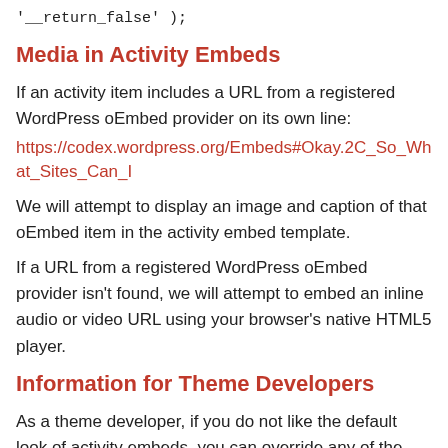'__return_false' );
Media in Activity Embeds
If an activity item includes a URL from a registered WordPress oEmbed provider on its own line:
https://codex.wordpress.org/Embeds#Okay.2C_So_What_Sites_Can_I
We will attempt to display an image and caption of that oEmbed item in the activity embed template.
If a URL from a registered WordPress oEmbed provider isn't found, we will attempt to embed an inline audio or video URL using your browser's native HTML5 player.
Information for Theme Developers
As a theme developer, if you do not like the default look of activity embeds, you can override any of the template parts located at /wp-content/plugins/buddypress/bp-templates/bp-